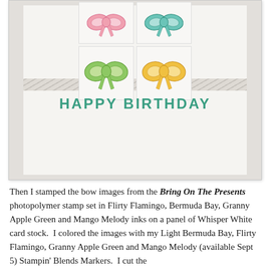[Figure (photo): A handmade birthday card featuring four colored bow stamps arranged in a 2x2 grid on white card panels. Bows are in pink (Flirty Flamingo), teal (Bermuda Bay), green (Granny Apple Green), and yellow-orange (Mango Melody). Below the bows, 'HAPPY BIRTHDAY' is stamped in teal uppercase letters.]
Then I stamped the bow images from the Bring On The Presents photopolymer stamp set in Flirty Flamingo, Bermuda Bay, Granny Apple Green and Mango Melody inks on a panel of Whisper White card stock.  I colored the images with my Light Bermuda Bay, Flirty Flamingo, Granny Apple Green and Mango Melody (available Sept 5) Stampin' Blends Markers.  I cut the